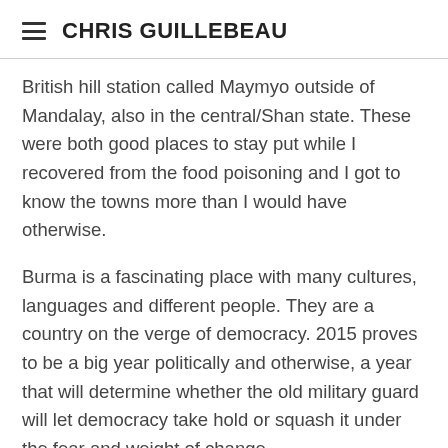CHRIS GUILLEBEAU
British hill station called Maymyo outside of Mandalay, also in the central/Shan state. These were both good places to stay put while I recovered from the food poisoning and I got to know the towns more than I would have otherwise.
Burma is a fascinating place with many cultures, languages and different people. They are a country on the verge of democracy. 2015 proves to be a big year politically and otherwise, a year that will determine whether the old military guard will let democracy take hold or squash it under the fear and weight of change.
I hope to lead a trip in Nov/Dec next year, just as the